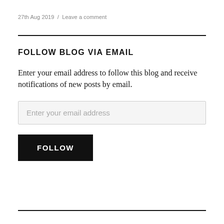27th Aug 2019  /  Leave a comment
FOLLOW BLOG VIA EMAIL
Enter your email address to follow this blog and receive notifications of new posts by email.
Enter your email address
FOLLOW